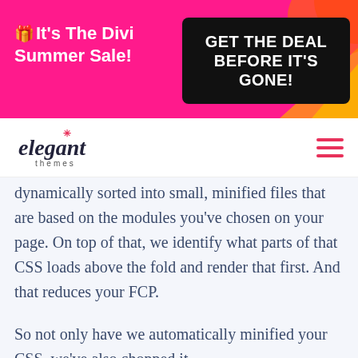[Figure (screenshot): Elegant Themes website banner advertising Divi Summer Sale with bright pink background, yellow/orange decorative shapes, white bold text on left reading '🎁 It's The Divi Summer Sale!' and a black button on right reading 'GET THE DEAL BEFORE IT'S GONE!']
[Figure (logo): Elegant Themes logo — cursive 'elegant' text with asterisk above the 't', and 'themes' in smaller text beneath]
dynamically sorted into small, minified files that are based on the modules you've chosen on your page. On top of that, we identify what parts of that CSS loads above the fold and render that first. And that reduces your FCP.
So not only have we automatically minified your CSS, we've also chopped it